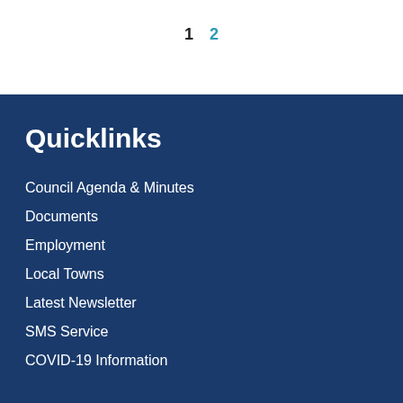1  2
Quicklinks
Council Agenda & Minutes
Documents
Employment
Local Towns
Latest Newsletter
SMS Service
COVID-19 Information